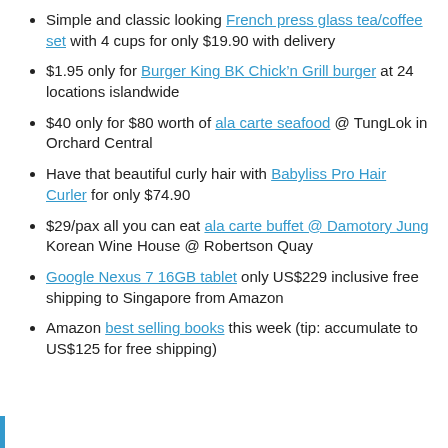Simple and classic looking French press glass tea/coffee set with 4 cups for only $19.90 with delivery
$1.95 only for Burger King BK Chick’n Grill burger at 24 locations islandwide
$40 only for $80 worth of ala carte seafood @ TungLok in Orchard Central
Have that beautiful curly hair with Babyliss Pro Hair Curler for only $74.90
$29/pax all you can eat ala carte buffet @ Damotory Jung Korean Wine House @ Robertson Quay
Google Nexus 7 16GB tablet only US$229 inclusive free shipping to Singapore from Amazon
Amazon best selling books this week (tip: accumulate to US$125 for free shipping)